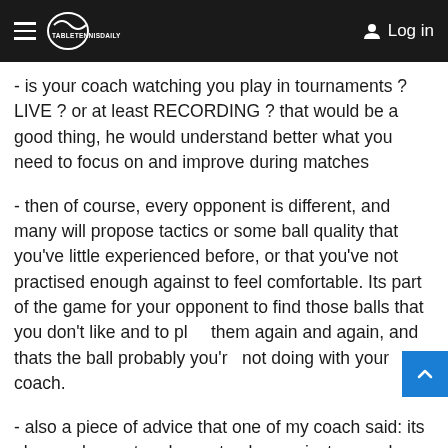TableTennisDaily — Log in
- is your coach watching you play in tournaments ? LIVE ? or at least RECORDING ? that would be a good thing, he would understand better what you need to focus on and improve during matches
- then of course, every opponent is different, and many will propose tactics or some ball quality that you've little experienced before, or that you've not practised enough against to feel comfortable. Its part of the game for your opponent to find those balls that you don't like and to play them again and again, and thats the ball probably you're not doing with your coach.
- also a piece of advice that one of my coach said: its always pleasant and easy to play against a coach, because he feeds you nice balls, so you can execute nice shots and feel good about it. But in match play you have to deal with many "dirty" or "dead" balls. Even if they look short, its not that short. Even it looks long, its not that long. Even if it